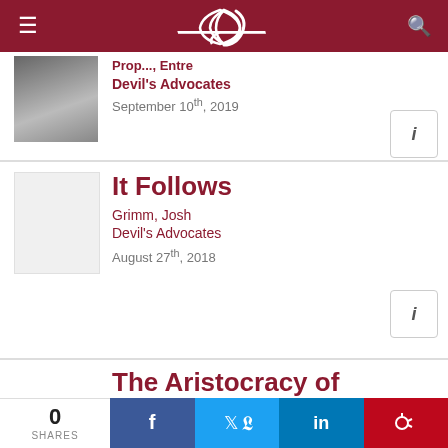≡  )  🔍
Prop..., Entre
Devil's Advocates
September 10th, 2019
It Follows
Grimm, Josh
Devil's Advocates
August 27th, 2018
The Aristocracy of
0 SHARES  f  t  in  p